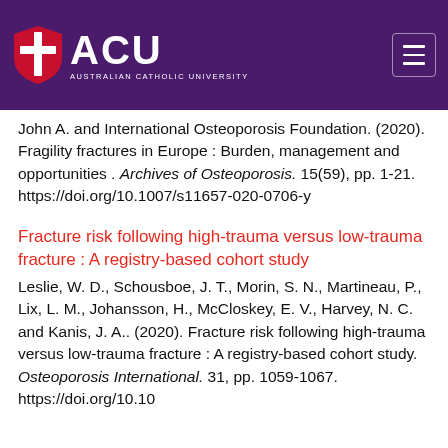[Figure (logo): Australian Catholic University (ACU) logo with shield and text on purple header background]
John A. and International Osteoporosis Foundation. (2020). Fragility fractures in Europe : Burden, management and opportunities . Archives of Osteoporosis. 15(59), pp. 1-21. https://doi.org/10.1007/s11657-020-0706-y
Fracture risk following high-trauma versus low-trauma fracture : A registry-based cohort study
Leslie, W. D., Schousboe, J. T., Morin, S. N., Martineau, P., Lix, L. M., Johansson, H., McCloskey, E. V., Harvey, N. C. and Kanis, J. A.. (2020). Fracture risk following high-trauma versus low-trauma fracture : A registry-based cohort study. Osteoporosis International. 31, pp. 1059-1067. https://doi.org/10.10